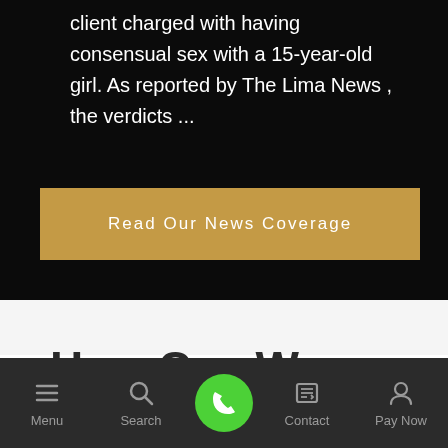client charged with having consensual sex with a 15-year-old girl. As reported by The Lima News , the verdicts ...
Read Our News Coverage
How Can We Help
Menu  Search  Contact  Pay Now